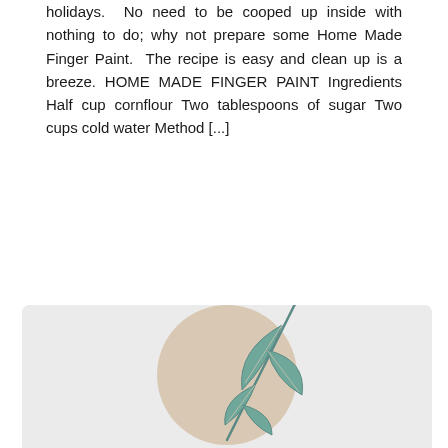holidays.  No need to be cooped up inside with nothing to do; why not prepare some Home Made Finger Paint.  The recipe is easy and clean up is a breeze. HOME MADE FINGER PAINT Ingredients Half cup cornflour Two tablespoons of sugar Two cups cold water Method [...]
Read More
[Figure (illustration): A decorative logo or illustration showing a eucalyptus or olive branch with teal-colored leaves over a beige/tan circle background, on a light grey rounded rectangle background.]